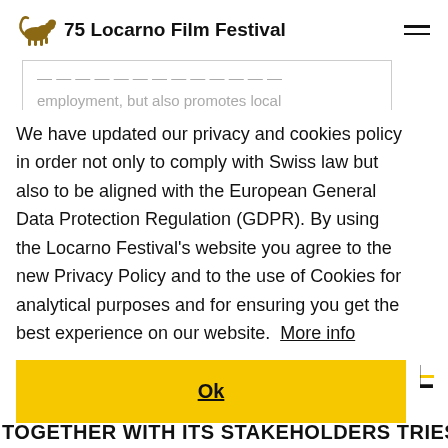75 Locarno Film Festival
employment, but also promotes local
We have updated our privacy and cookies policy in order not only to comply with Swiss law but also to be aligned with the European General Data Protection Regulation (GDPR). By using the Locarno Festival's website you agree to the new Privacy Policy and to the use of Cookies for analytical purposes and for ensuring you get the best experience on our website. More info
Ok
ie
VAL
TOGETHER WITH ITS STAKEHOLDERS TRIES TO